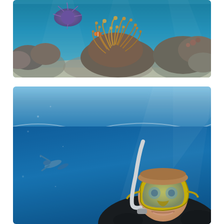[Figure (photo): Underwater photo of a coral reef with a sea anemone and colorful marine life in blue ocean water]
[Figure (screenshot): Underwater photo of a snorkeler wearing yellow mask and snorkel, with a chat popup overlay showing 'Aloha! Do you have a question? Text us here!' and a close button]
Aloha! Do you have a question? Text us here!
close